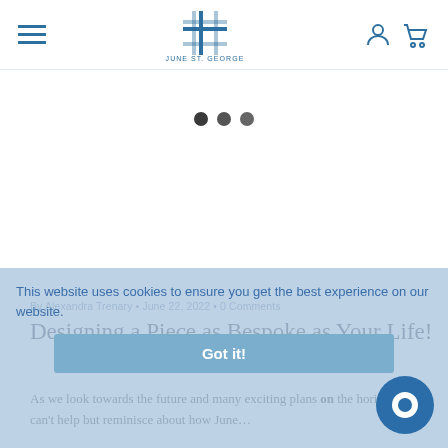June St. George — navigation header with hamburger menu, logo, user and cart icons
[Figure (other): Three loading dots (dark grey circles) indicating content loading]
By Alexandra Trenary • June 22, 2022 • 0 Comments
Designing a Piece as Bespoke as Your Life!
As we look towards the future and many exciting plans on the horizon, we can't help but reminisce about how June…
This website uses cookies to ensure you get the best experience on our website.
Got it!